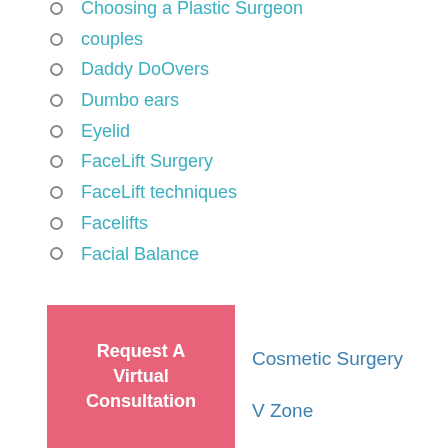Choosing a Plastic Surgeon
couples
Daddy DoOvers
Dumbo ears
Eyelid
FaceLift Surgery
FaceLift techniques
Facelifts
Facial Balance
Request A Virtual Consultation
Cosmetic Surgery
V Zone